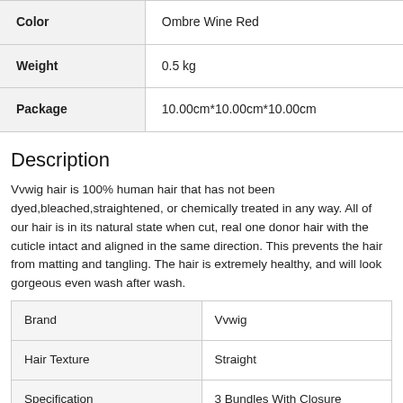|  |  |
| --- | --- |
| Color | Ombre Wine Red |
| Weight | 0.5 kg |
| Package | 10.00cm*10.00cm*10.00cm |
Description
Vvwig hair is 100% human hair that has not been dyed,bleached,straightened, or chemically treated in any way. All of our hair is in its natural state when cut, real one donor hair with the cuticle intact and aligned in the same direction. This prevents the hair from matting and tangling. The hair is extremely healthy, and will look gorgeous even wash after wash.
|  |  |
| --- | --- |
| Brand | Vvwig |
| Hair Texture | Straight |
| Specification | 3 Bundles With Closure |
| Hair Color | #99J |